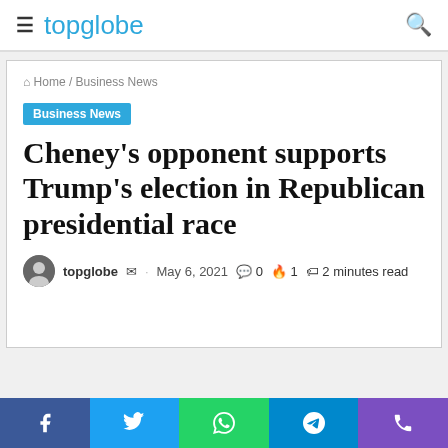topglobe
Home / Business News
Business News
Cheney's opponent supports Trump's election in Republican presidential race
topglobe  ·  May 6, 2021  0  1  2 minutes read